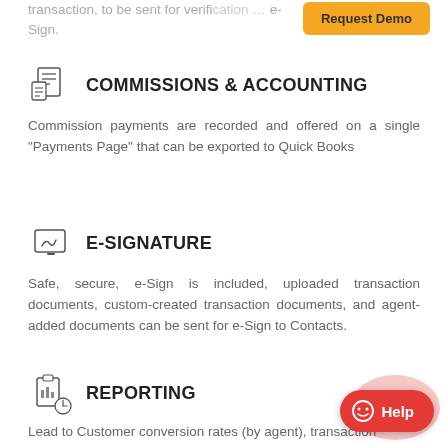transaction, to be sent for verification ... e-Sign.
COMMISSIONS & ACCOUNTING
Commission payments are recorded and offered on a single "Payments Page" that can be exported to Quick Books
E-SIGNATURE
Safe, secure, e-Sign is included, uploaded transaction documents, custom-created transaction documents, and agent-added documents can be sent for e-Sign to Contacts.
REPORTING
Lead to Customer conversion rates (by agent), transaction